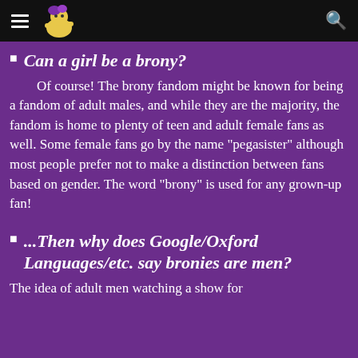[navigation header with logo and search icon]
Can a girl be a brony?
Of course! The brony fandom might be known for being a fandom of adult males, and while they are the majority, the fandom is home to plenty of teen and adult female fans as well. Some female fans go by the name "pegasister" although most people prefer not to make a distinction between fans based on gender. The word "brony" is used for any grown-up fan!
...Then why does Google/Oxford Languages/etc. say bronies are men?
The idea of adult men watching a show for